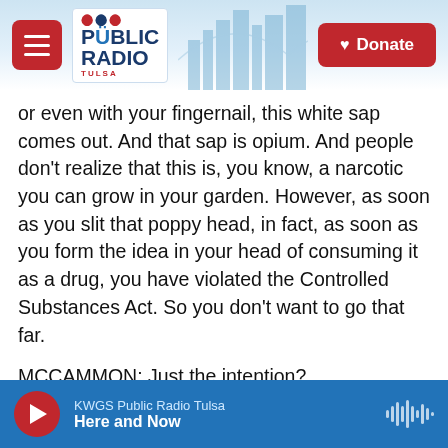Public Radio Tulsa — Donate
or even with your fingernail, this white sap comes out. And that sap is opium. And people don't realize that this is, you know, a narcotic you can grow in your garden. However, as soon as you slit that poppy head, in fact, as soon as you form the idea in your head of consuming it as a drug, you have violated the Controlled Substances Act. So you don't want to go that far.
MCCAMMON: Just the intention?
POLLAN: The intention alone, yes. And the intention could be proved by owning a manual that
KWGS Public Radio Tulsa — Here and Now